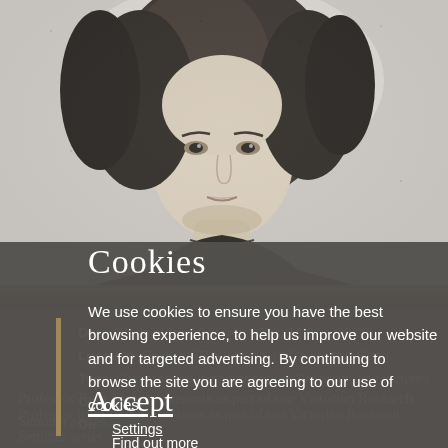[Figure (illustration): Black and white portrait photograph/engraving of a person (likely George Eliot or similar Victorian figure) with dark curly hair, shown from shoulders up.]
Cookies
We use cookies to ensure you have the best browsing experience, to help us improve our website and for targeted advertising. By continuing to browse the site you are agreeing to our use of cookies.
Date: Wednesday 10 March 2020, 16:00 – 18:00
Location: English SR 5, House 40 Cavendish Road
Type: Conferences, seminar series, Seminars and lectures
Cost: (event details partially obscured)
Duration: (event details partially obscured)
Accept
Settings
Professor Ruth Livesey presents as part of our Victorian Research Seminar series.
Find out more